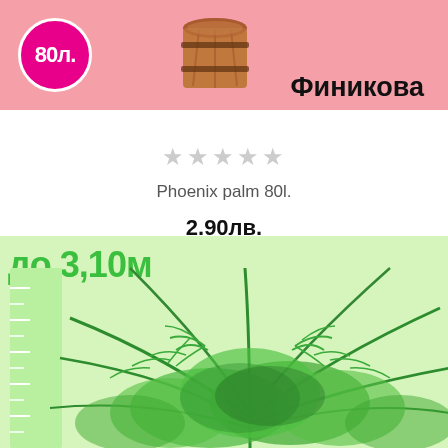[Figure (photo): Wooden barrel/pot planter on pink banner background with circular magenta badge showing '80л.']
Финикова
★★★★★ (empty stars rating)
Phoenix palm 80l.
2.90лв.
[Figure (photo): Date palm (Phoenix palm) fronds/leaves shown in lower green section with height scale ruler showing до 3,10м]